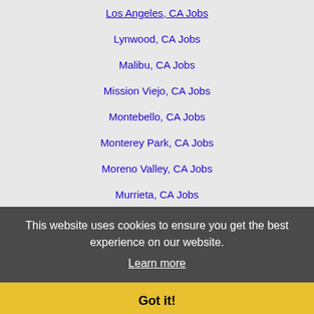Los Angeles, CA Jobs
Lynwood, CA Jobs
Malibu, CA Jobs
Mission Viejo, CA Jobs
Montebello, CA Jobs
Monterey Park, CA Jobs
Moreno Valley, CA Jobs
Murrieta, CA Jobs
National City, CA Jobs
Newport Beach, CA Jobs
Norwalk, CA Jobs
Oceanside, CA Jobs
Orange, CA Jobs
Oxnard, CA Jobs
Palm Desert, CA Jobs
Palm Springs, CA Jobs
Palmdale, CA Jobs
Paramount, CA Jobs
This website uses cookies to ensure you get the best experience on our website.
Learn more
Got it!